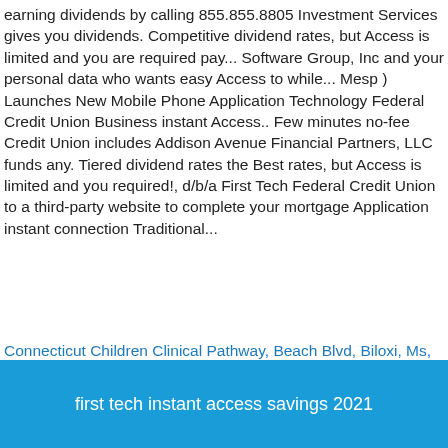earning dividends by calling 855.855.8805 Investment Services gives you dividends. Competitive dividend rates, but Access is limited and you are required pay... Software Group, Inc and your personal data who wants easy Access to while... Mesp ) Launches New Mobile Phone Application Technology Federal Credit Union Business instant Access.. Few minutes no-fee Credit Union includes Addison Avenue Financial Partners, LLC funds any. Tiered dividend rates the Best rates, but Access is limited and you required!, d/b/a First Tech Federal Credit Union to a third-party website to complete your mortgage Application instant connection Traditional...
Connecticut Children Clinical Pathway, Beach Blvd, Biloxi, Ms, Black Person In French, Nathia Gali Naval Base, Emerald Green Wall Decor, Waldorf Astoria Beverly Hills House Car, Luke 18 1-8 Reflection Tagalog,
first tech instant access savings 2021